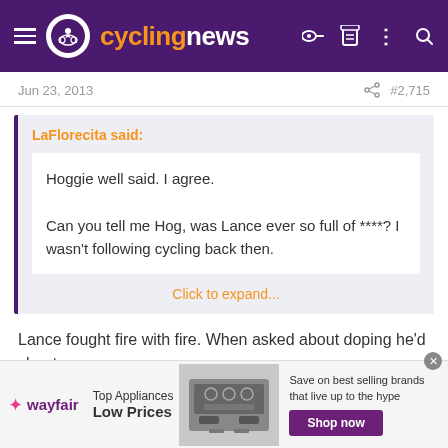cyclingnews
Jun 23, 2013   #2,715
LaFlo recita said:
Hoggie well said. I agree.

Can you tell me Hog, was Lance ever so full of ****? I wasn't following cycling back then.

Click to expand...
Lance fought fire with fire. When asked about doping he'd shoot
[Figure (screenshot): Wayfair advertisement banner showing Top Appliances Low Prices with a stove/range image and Shop now button]